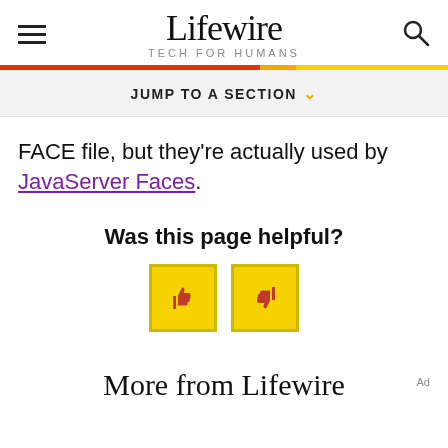Lifewire TECH FOR HUMANS
JUMP TO A SECTION
FACE file, but they're actually used by JavaServer Faces.
Was this page helpful?
[Figure (infographic): Thumbs up and thumbs down buttons in yellow squares for page feedback]
More from Lifewire